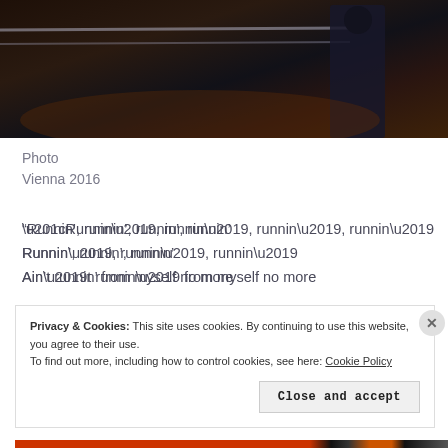[Figure (photo): Dark photograph of a person walking near metal railings, taken in Vienna 2016. The scene is dimly lit with warm amber and dark tones.]
Photo
Vienna 2016
“Runnin’, runnin’, runnin’, runnin’
Runnin’, runnin’, runnin’
Ain’t runnin’ from myself no more
Privacy & Cookies: This site uses cookies. By continuing to use this website, you agree to their use.
To find out more, including how to control cookies, see here: Cookie Policy
Close and accept